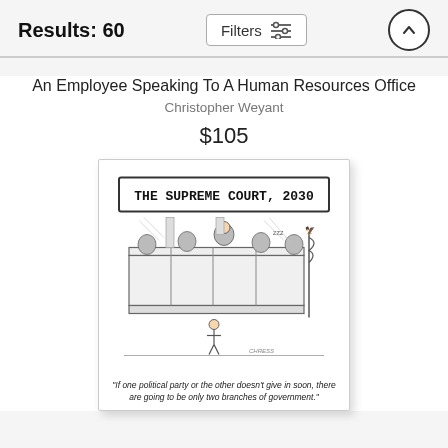Results: 60
An Employee Speaking To A Human Resources Office
Christopher Weyant
$105
[Figure (illustration): New Yorker style cartoon titled 'THE SUPREME COURT, 2030' showing judges at a bench with a small figure standing before them. Caption reads: 'If one political party or the other doesn't give in soon, there are going to be only two branches of government.']